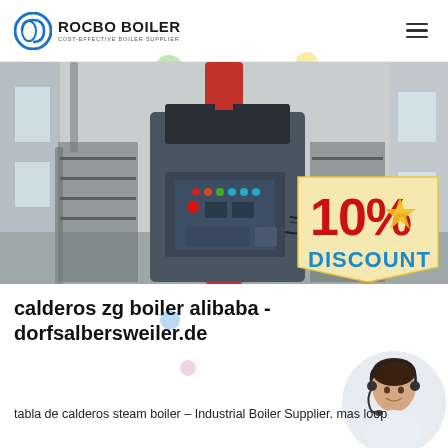ROCBO BOILER | COST-EFFECTIVE BOILER SUPPLIER
[Figure (photo): Industrial steam boiler unit in a factory setting, with a blue and grey cabinet containing control panels with red, yellow, and green indicator lights, supported by a red vertical column. A '10% DISCOUNT' promotional badge overlay appears in the lower right of the image. A customer service representative with headset is visible in the lower right corner.]
calderos zg boiler alibaba - dorfsalbersweiler.de
tabla de calderos steam boiler – Industrial Boiler Supplier. mas loop